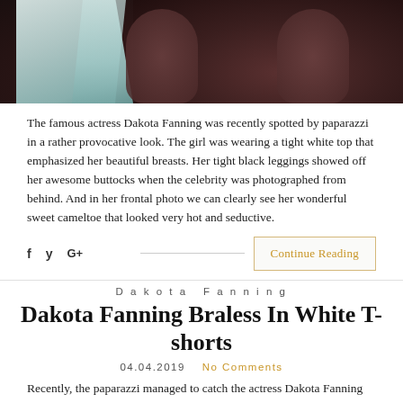[Figure (photo): Top portion of a photo showing a person in a white top and dark mesh/leggings, photographed from behind against a dark background]
The famous actress Dakota Fanning was recently spotted by paparazzi in a rather provocative look. The girl was wearing a tight white top that emphasized her beautiful breasts. Her tight black leggings showed off her awesome buttocks when the celebrity was photographed from behind. And in her frontal photo we can clearly see her wonderful sweet cameltoe that looked very hot and seductive.
f  y  G+   Continue Reading
Dakota Fanning
Dakota Fanning Braless In White T-shorts
04.04.2019   No Comments
Recently, the paparazzi managed to catch the actress Dakota Fanning